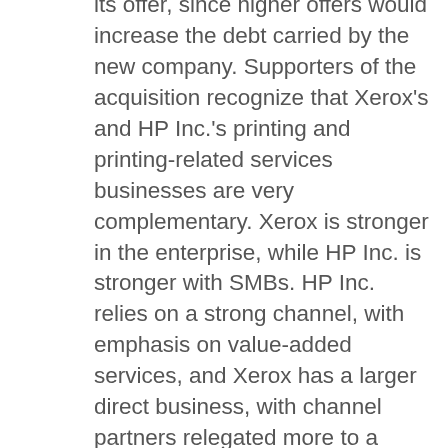its offer, since higher offers would increase the debt carried by the new company. Supporters of the acquisition recognize that Xerox's and HP Inc.'s printing and printing-related services businesses are very complementary. Xerox is stronger in the enterprise, while HP Inc. is stronger with SMBs. HP Inc. relies on a strong channel, with emphasis on value-added services, and Xerox has a larger direct business, with channel partners relegated more to a reseller model. Xerox owns a more comprehensive services business, Xerox Business Services, that retains its locally and vertically oriented subsidiaries. HP Inc. is relatively stronger outside North America, especially with SMBs.